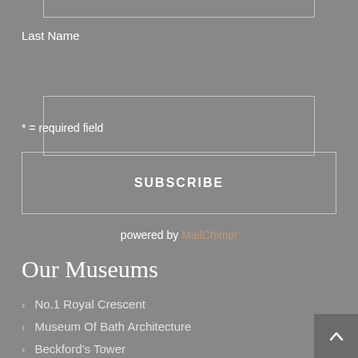Last Name
* = required field
SUBSCRIBE
powered by MailChimp!
Our Museums
> No.1 Royal Crescent
> Museum Of Bath Architecture
> Beckford's Tower